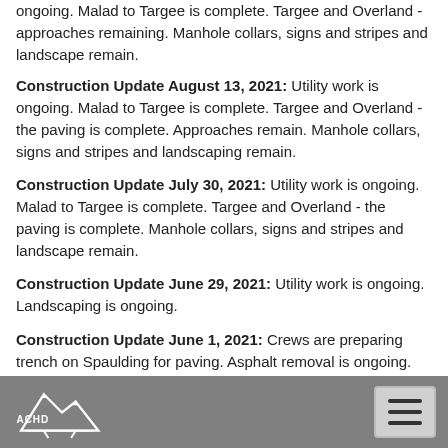ongoing. Malad to Targee is complete. Targee and Overland - approaches remaining. Manhole collars, signs and stripes and landscape remain.
Construction Update August 13, 2021: Utility work is ongoing. Malad to Targee is complete. Targee and Overland - the paving is complete. Approaches remain. Manhole collars, signs and stripes and landscaping remain.
Construction Update July 30, 2021: Utility work is ongoing. Malad to Targee is complete. Targee and Overland - the paving is complete. Manhole collars, signs and stripes and landscape remain.
Construction Update June 29, 2021: Utility work is ongoing. Landscaping is ongoing.
Construction Update June 1, 2021: Crews are preparing trench on Spaulding for paving. Asphalt removal is ongoing.
ACHD